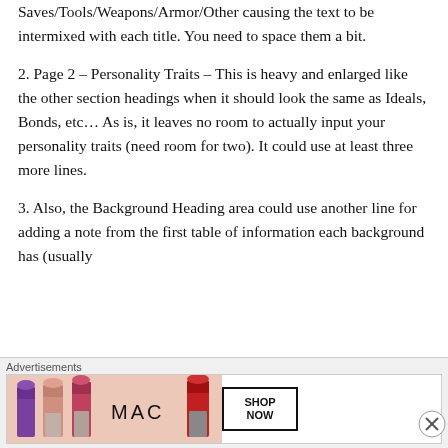Saves/Tools/Weapons/Armor/Other causing the text to be intermixed with each title. You need to space them a bit.
2. Page 2 – Personality Traits – This is heavy and enlarged like the other section headings when it should look the same as Ideals, Bonds, etc… As is, it leaves no room to actually input your personality traits (need room for two). It could use at least three more lines.
3. Also, the Background Heading area could use another line for adding a note from the first table of information each background has (usually
Advertisements
[Figure (photo): MAC cosmetics advertisement banner showing lipsticks in purple, peach, and pink/red colors with MAC logo and SHOP NOW button]